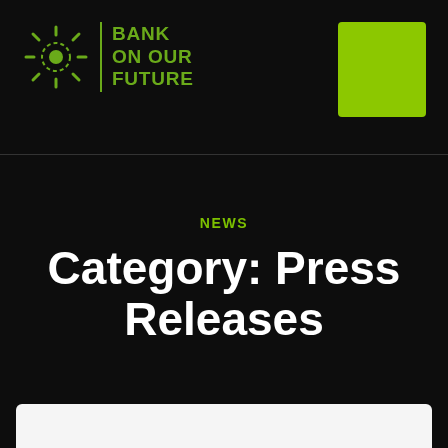[Figure (logo): Bank On Our Future logo with sun icon and green text on dark background, with a lime green rectangle in the top right corner]
NEWS
Category: Press Releases